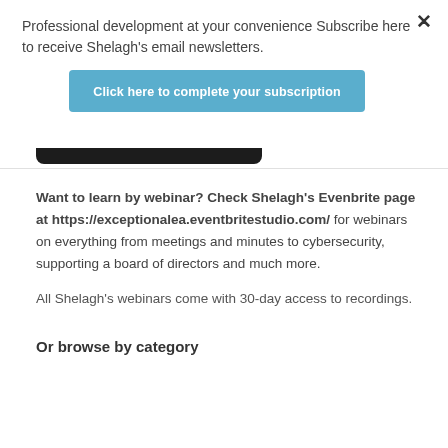Professional development at your convenience Subscribe here to receive Shelagh's email newsletters.
[Figure (screenshot): Blue button labeled 'Click here to complete your subscription']
Want to learn by webinar? Check Shelagh's Evenbrite page at https://exceptionalea.eventbritestudio.com/ for webinars on everything from meetings and minutes to cybersecurity, supporting a board of directors and much more.
All Shelagh's webinars come with 30-day access to recordings.
Or browse by category